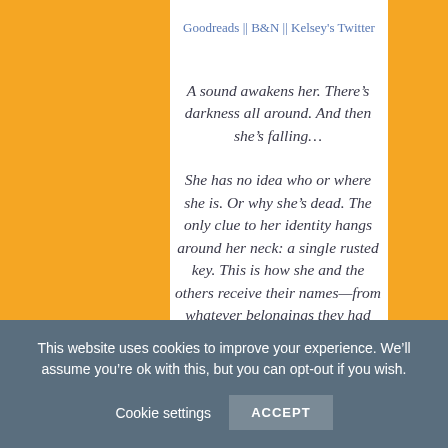Goodreads || B&N || Kelsey's Twitter
A sound awakens her. There’s darkness all around. And then she’s falling...
She has no idea who or where she is. Or why she’s dead. The only clue to her identity hangs around her neck: a single rusted key. This is how she and the others receive their names—from whatever belongings they had when they fell out of their graves. Under is a place of dirt and
This website uses cookies to improve your experience. We’ll assume you’re ok with this, but you can opt-out if you wish.
Cookie settings   ACCEPT